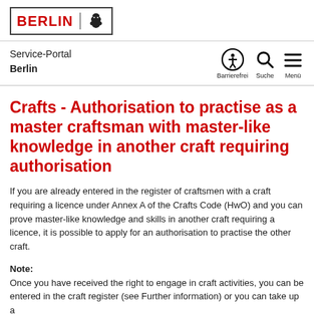[Figure (logo): Berlin state logo with red BERLIN text and black bear silhouette inside a bordered box]
Service-Portal Berlin — navigation bar with Barrierefrei, Suche, Menü icons
Crafts - Authorisation to practise as a master craftsman with master-like knowledge in another craft requiring authorisation
If you are already entered in the register of craftsmen with a craft requiring a licence under Annex A of the Crafts Code (HwO) and you can prove master-like knowledge and skills in another craft requiring a licence, it is possible to apply for an authorisation to practise the other craft.
Note:
Once you have received the right to engage in craft activities, you can be entered in the craft register (see Further information) or you can take up a